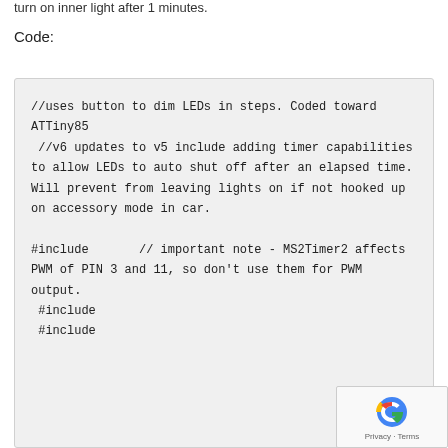turn on inner light after 1 minutes.
Code:
//uses button to dim LEDs in steps. Coded toward ATTiny85
 //v6 updates to v5 include adding timer capabilities to allow LEDs to auto shut off after an elapsed time.  Will prevent from leaving lights on if not hooked up on accessory mode in car.

#include       // important note - MS2Timer2 affects PWM of PIN 3 and 11, so don't use them for PWM output.
 #include
 #include